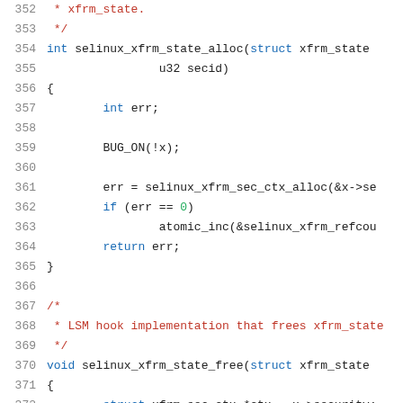352  * xfrm_state.
353  */
354 int selinux_xfrm_state_alloc(struct xfrm_state
355              u32 secid)
356 {
357         int err;
358 
359         BUG_ON(!x);
360 
361         err = selinux_xfrm_sec_ctx_alloc(&x->se
362         if (err == 0)
363                 atomic_inc(&selinux_xfrm_refcou
364         return err;
365 }
366 
367 /*
368  * LSM hook implementation that frees xfrm_state
369  */
370 void selinux_xfrm_state_free(struct xfrm_state
371 {
372         struct xfrm_sec_ctx *ctx = x->security;
373 kfree(ctx);